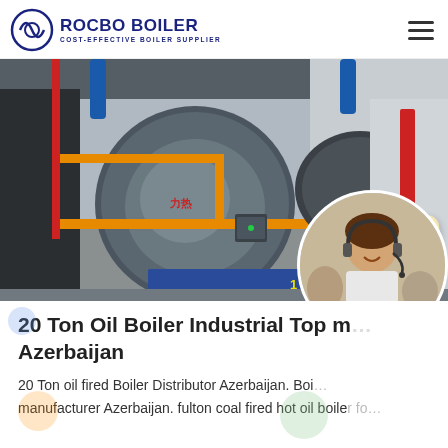ROCBO BOILER — COST-EFFECTIVE BOILER SUPPLIER
[Figure (photo): Industrial boilers in a facility with orange/yellow pipes, a large cylindrical blue-grey boiler prominent in center, red pipe on left, additional boilers in background, with a '10% DISCOUNT' badge overlay in bottom-right corner]
20 Ton Oil Boiler Industrial Top m… Azerbaijan
20 Ton oil fired Boiler Distributor Azerbaijan. Boiler manufacturer Azerbaijan. fulton coal fired hot oil boiler fo…